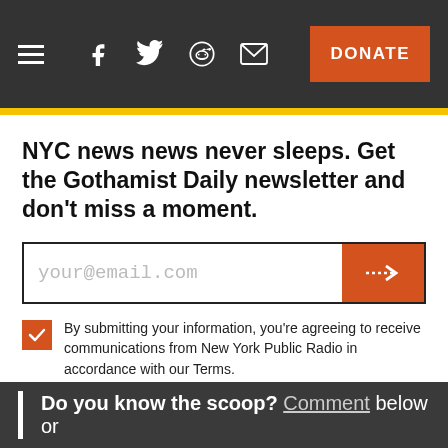≡  f  🐦  🔴  ✉  DONATE
NYC news news never sleeps. Get the Gothamist Daily newsletter and don't miss a moment.
[Figure (screenshot): Email signup form with text input showing 'your@email.com' placeholder and orange submit arrow button]
By submitting your information, you're agreeing to receive communications from New York Public Radio in accordance with our Terms.
#CRIME
#HARLEM
#HOVERBOARDS
#NYC
#ORIGINAL
Do you know the scoop? Comment below or